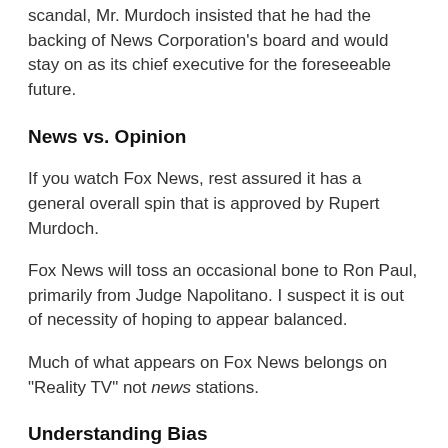scandal, Mr. Murdoch insisted that he had the backing of News Corporation's board and would stay on as its chief executive for the foreseeable future.
News vs. Opinion
If you watch Fox News, rest assured it has a general overall spin that is approved by Rupert Murdoch.
Fox News will toss an occasional bone to Ron Paul, primarily from Judge Napolitano. I suspect it is out of necessity of hoping to appear balanced.
Much of what appears on Fox News belongs on "Reality TV" not news stations.
Understanding Bias
When someone reads my blog they understand what they see is "my opinion". When someone listens to Fox News many do not realize they are not getting facts, they are